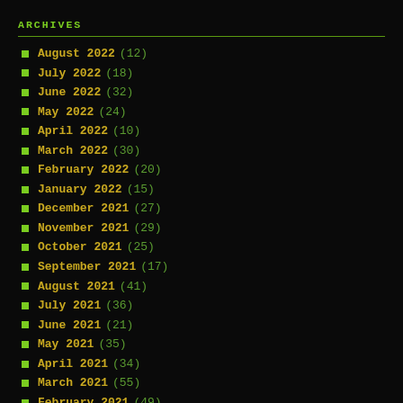ARCHIVES
August 2022 (12)
July 2022 (18)
June 2022 (32)
May 2022 (24)
April 2022 (10)
March 2022 (30)
February 2022 (20)
January 2022 (15)
December 2021 (27)
November 2021 (29)
October 2021 (25)
September 2021 (17)
August 2021 (41)
July 2021 (36)
June 2021 (21)
May 2021 (35)
April 2021 (34)
March 2021 (55)
February 2021 (49)